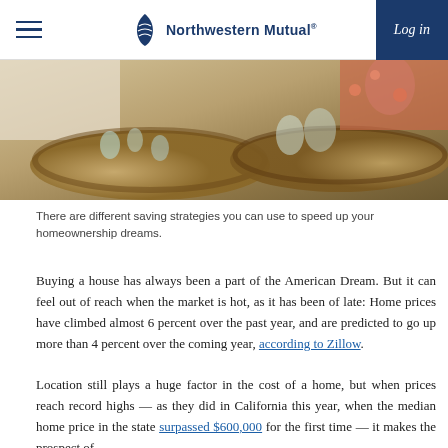Northwestern Mutual — Log in
[Figure (photo): Photo of woven rattan/seagrass decorative trays on a table with glassware, a person in floral clothing in the background]
There are different saving strategies you can use to speed up your homeownership dreams.
Buying a house has always been a part of the American Dream. But it can feel out of reach when the market is hot, as it has been of late: Home prices have climbed almost 6 percent over the past year, and are predicted to go up more than 4 percent over the coming year, according to Zillow.
Location still plays a huge factor in the cost of a home, but when prices reach record highs — as they did in California this year, when the median home price in the state surpassed $600,000 for the first time — it makes the prospect of